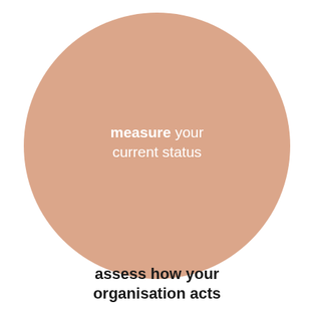[Figure (illustration): A large salmon/peach-colored circle with centered white text reading 'measure your current status' where 'measure' is bold.]
assess how your organisation acts